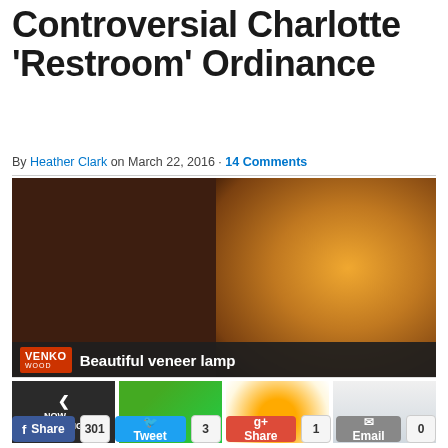Controversial Charlotte 'Restroom' Ordinance
By Heather Clark on March 22, 2016 · 14 Comments
[Figure (screenshot): Video player showing a lamp with veneer design, with VENKO WOOD branding overlay and caption 'Beautiful veneer lamp'. Below are video thumbnails including 'NOW PLAYING' and three other video thumbnails.]
f Share 301  Tweet 3  g+ Share 1  Email 0